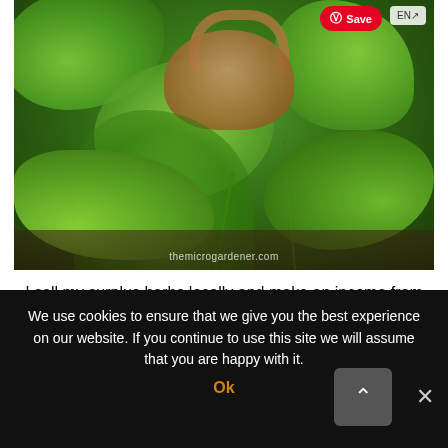[Figure (photo): A wicker basket overflowing with fresh herbs including dill, basil, mint, and other garden herbs, placed on a dark wooden surface. Watermark reads 'themicrogardener.com'.]
I sell my surplus herbs locally and make an income from sharing the abundance from my garden.
We use cookies to ensure that we give you the best experience on our website. If you continue to use this site we will assume that you are happy with it.
Ok